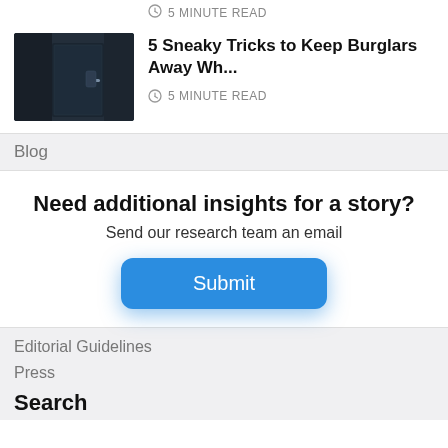5 MINUTE READ
[Figure (photo): Dark photo of a door handle with lock, suggesting home security topic]
5 Sneaky Tricks to Keep Burglars Away Wh...
5 MINUTE READ
Blog
Need additional insights for a story?
Send our research team an email
Submit
Editorial Guidelines
Press
Search